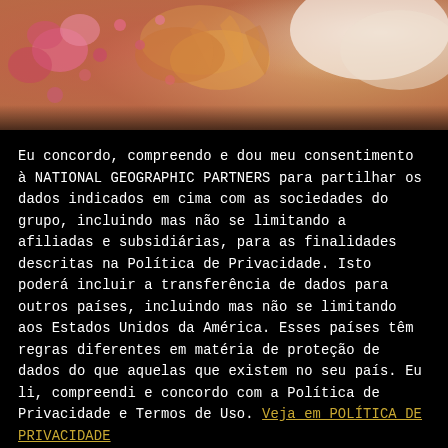[Figure (photo): Close-up photo of colorful flowers with pink, red, and golden yellow petals and feathery textures against a white/cream background]
Eu concordo, compreendo e dou meu consentimento à NATIONAL GEOGRAPHIC PARTNERS para partilhar os dados indicados em cima com as sociedades do grupo, incluindo mas não se limitando a afiliadas e subsidiárias, para as finalidades descritas na Política de Privacidade. Isto poderá incluir a transferência de dados para outros países, incluindo mas não se limitando aos Estados Unidos da América. Esses países têm regras diferentes em matéria de proteção de dados do que aquelas que existem no seu país. Eu li, compreendi e concordo com a Política de Privacidade e Termos de Uso. Veja em POLÍTICA DE PRIVACIDADE
ACEITAR